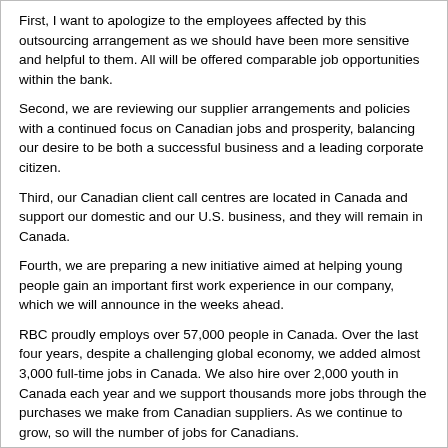First, I want to apologize to the employees affected by this outsourcing arrangement as we should have been more sensitive and helpful to them. All will be offered comparable job opportunities within the bank.
Second, we are reviewing our supplier arrangements and policies with a continued focus on Canadian jobs and prosperity, balancing our desire to be both a successful business and a leading corporate citizen.
Third, our Canadian client call centres are located in Canada and support our domestic and our U.S. business, and they will remain in Canada.
Fourth, we are preparing a new initiative aimed at helping young people gain an important first work experience in our company, which we will announce in the weeks ahead.
RBC proudly employs over 57,000 people in Canada. Over the last four years, despite a challenging global economy, we added almost 3,000 full-time jobs in Canada. We also hire over 2,000 youth in Canada each year and we support thousands more jobs through the purchases we make from Canadian suppliers. As we continue to grow, so will the number of jobs for Canadians.
RBC opened for business in 1864 and we have worked hard since then to earn the confidence and support of the community. Today, we remain every bit as committed to earning the right to be our clients' first choice, providing rewarding careers for our employees, delivering returns to shareholders who invest with us, and supporting the communities in which we are privileged to operate.